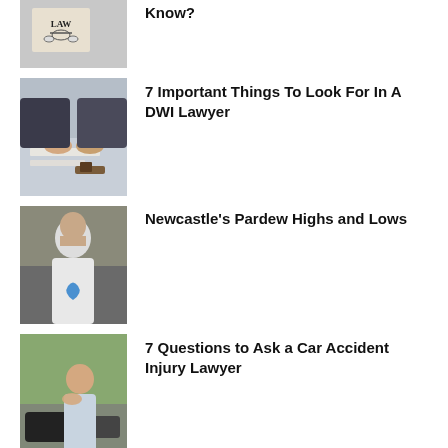[Figure (photo): Partial thumbnail of LAW book with scales of justice and glasses]
Know?
[Figure (photo): Two people at a desk with a gavel and papers, handshake]
7 Important Things To Look For In A DWI Lawyer
[Figure (photo): Man in white jacket holding a heart-shaped object]
Newcastle’s Pardew Highs and Lows
[Figure (photo): Woman touching her neck near a car accident scene]
7 Questions to Ask a Car Accident Injury Lawyer
LEAVE A REPLY